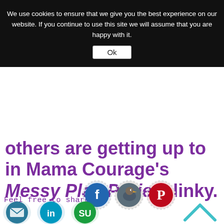We use cookies to ensure that we give you the best experience on our website. If you continue to use this site we will assume that you are happy with it.
Ok
others are getting up to in Mama Courage's Messy Play Project linky.
[Figure (screenshot): Social share icons row: Facebook, Twitter/Tweetdeck, Pinterest, Email, LinkedIn, StumbleUpon, and a back-to-top arrow. Text reads 'Feel free to share...']